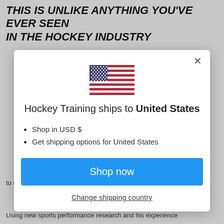THIS IS UNLIKE ANYTHING YOU'VE EVER SEEN IN THE HOCKEY INDUSTRY
[Figure (illustration): Modal dialog box with US flag, shipping information for United States, Shop now button, and Change shipping country link]
to day...
Using new sports performance research and his experience